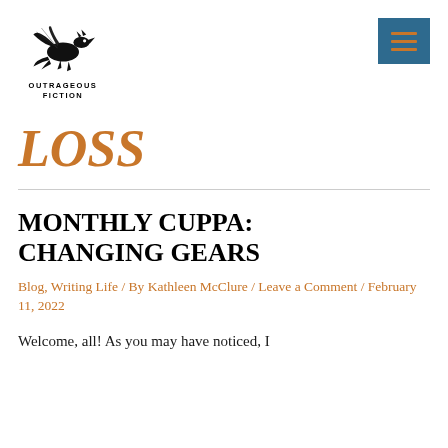[Figure (logo): Outrageous Fiction logo with a black dragon and text 'OUTRAGEOUS FICTION' below]
[Figure (other): Teal/blue hamburger menu button with three orange horizontal lines]
LOSS
MONTHLY CUPPA: CHANGING GEARS
Blog, Writing Life / By Kathleen McClure / Leave a Comment / February 11, 2022
Welcome, all! As you may have noticed, I